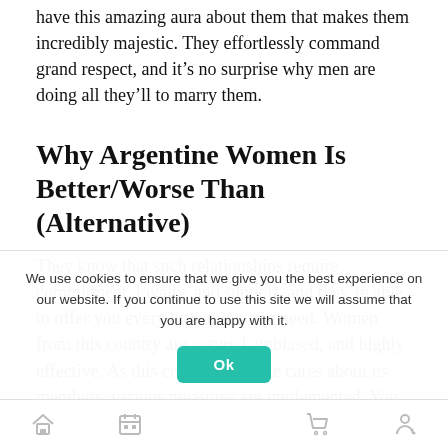have this amazing aura about them that makes them incredibly majestic. They effortlessly command grand respect, and it's no surprise why men are doing all they'll to marry them.
Why Argentine Women Is Better/Worse Than (Alternative)
They know that such relationships require commitment, loyalty, and support, and they're able to offer you every little thing you need. Women from this country are assured, unbiased, and highly effective. As this courting website cares about its members, various measures are implemented. You can be sure that all personal information is properly protected with an SSL encryption.
It is... of Argentina beauties. Besides, Spanish language is considered one... more than...
We use cookies to ensure that we give you the best experience on our website. If you continue to use this site we will assume that you are happy with it.